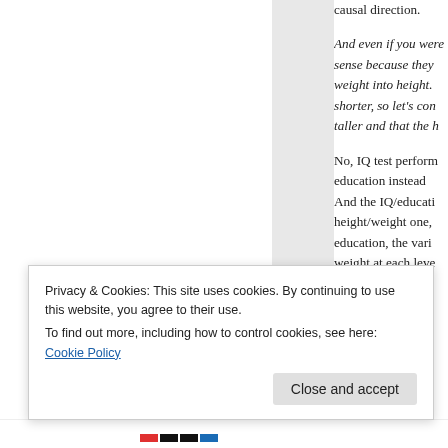causal direction.
And even if you were sense because they weight into height. shorter, so let's con taller and that the h
No, IQ test perform education instead And the IQ/educati height/weight one, education, the vari weight at each leve are heavier than ex
Privacy & Cookies: This site uses cookies. By continuing to use this website, you agree to their use. To find out more, including how to control cookies, see here: Cookie Policy